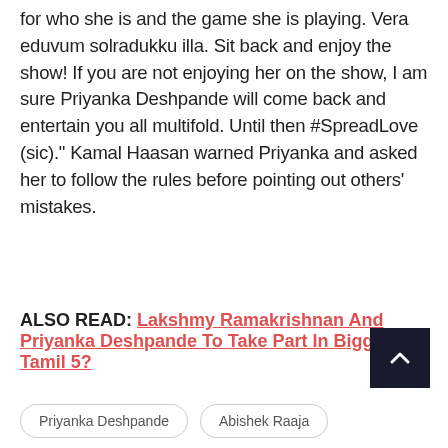for who she is and the game she is playing. Vera eduvum solradukku illa. Sit back and enjoy the show! If you are not enjoying her on the show, I am sure Priyanka Deshpande will come back and entertain you all multifold. Until then #SpreadLove (sic)." Kamal Haasan warned Priyanka and asked her to follow the rules before pointing out others' mistakes.
ALSO READ: Lakshmy Ramakrishnan And Priyanka Deshpande To Take Part In Bigg Boss Tamil 5?
Priyanka Deshpande
Abishek Raaja